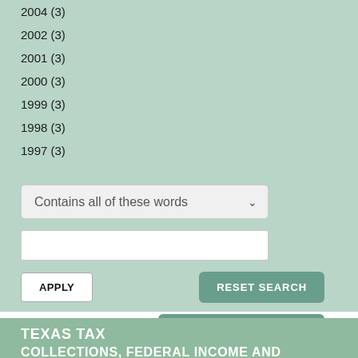2004 (3)
2002 (3)
2001 (3)
2000 (3)
1999 (3)
1998 (3)
1997 (3)
Contains all of these words
APPLY
RESET SEARCH
HIDE SEARCH FILTERS
TEXAS TAX
COLLECTIONS, FEDERAL INCOME AND